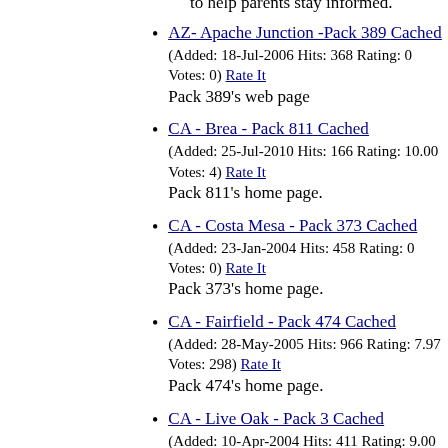to help parents stay informed.
AZ- Apache Junction -Pack 389 Cached (Added: 18-Jul-2006 Hits: 368 Rating: 0 Votes: 0) Rate It Pack 389's web page
CA - Brea - Pack 811 Cached (Added: 25-Jul-2010 Hits: 166 Rating: 10.00 Votes: 4) Rate It Pack 811's home page.
CA - Costa Mesa - Pack 373 Cached (Added: 23-Jan-2004 Hits: 458 Rating: 0 Votes: 0) Rate It Pack 373's home page.
CA - Fairfield - Pack 474 Cached (Added: 28-May-2005 Hits: 966 Rating: 7.97 Votes: 298) Rate It Pack 474's home page.
CA - Live Oak - Pack 3 Cached (Added: 10-Apr-2004 Hits: 411 Rating: 9.00 Votes: 3) Rate It Pack 3's home page.